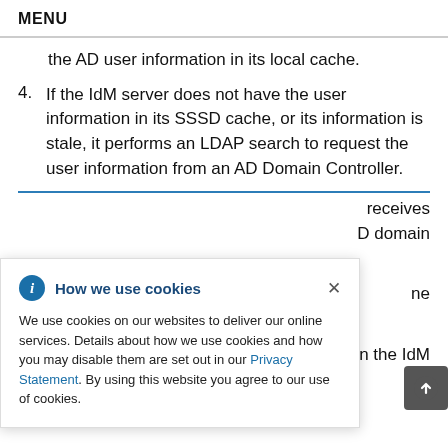MENU
the AD user information in its local cache.
4. If the IdM server does not have the user information in its SSSD cache, or its information is stale, it performs an LDAP search to request the user information from an AD Domain Controller.
How we use cookies
We use cookies on our websites to deliver our online services. Details about how we use cookies and how you may disable them are set out in our Privacy Statement. By using this website you agree to our use of cookies.
receives
D domain
ne
on the IdM
server, which completes the LDAP extended
operation.